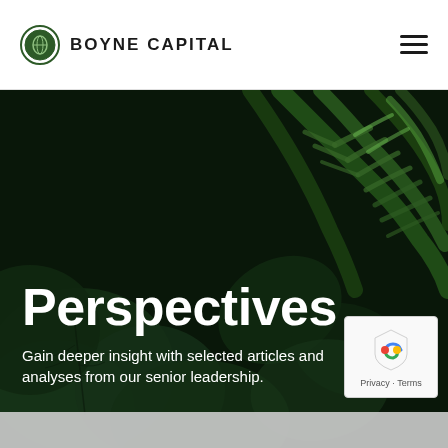BOYNE CAPITAL
[Figure (photo): Close-up photo of dark green tropical leaves and fern fronds filling the entire background of a hero section]
Perspectives
Gain deeper insight with selected articles and analyses from our senior leadership.